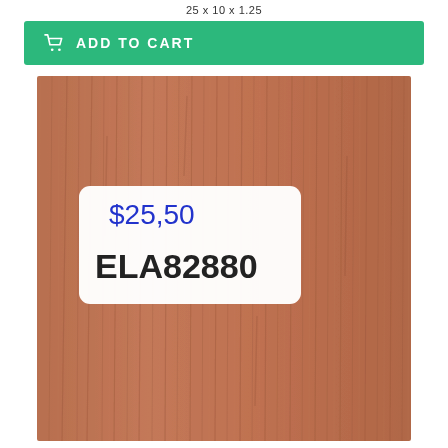25 x 10 x 1.25
ADD TO CART
[Figure (photo): A piece of wood (likely mahogany or similar hardwood) with visible grain texture, displayed with a white price label showing '$25,50' handwritten in blue pen and the SKU code 'ELA82880' printed in bold black text.]